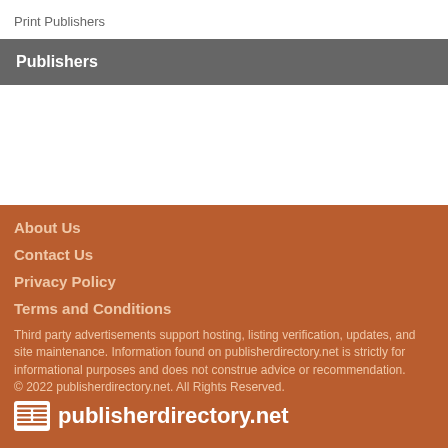Print Publishers
Publishers
About Us
Contact Us
Privacy Policy
Terms and Conditions
Third party advertisements support hosting, listing verification, updates, and site maintenance. Information found on publisherdirectory.net is strictly for informational purposes and does not construe advice or recommendation.
© 2022 publisherdirectory.net. All Rights Reserved.
publisherdirectory.net